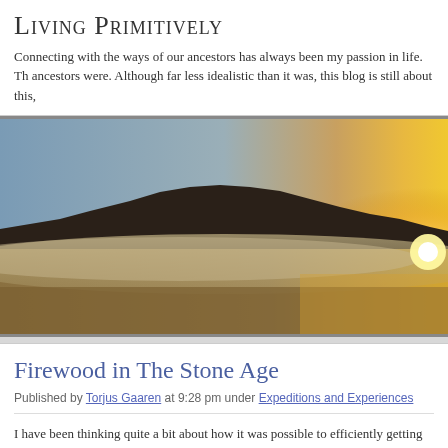Living Primitively
Connecting with the ways of our ancestors has always been my passion in life. Th ancestors were. Although far less idealistic than it was, this blog is still about this,
[Figure (photo): Panoramic landscape photo showing a dark silhouetted mountain ridge against a golden sunrise sky, with misty fog rolling across a flat foreground. The sun is bright near the right horizon creating strong golden and amber tones.]
Firewood in The Stone Age
Published by Torjus Gaaren at 9:28 pm under Expeditions and Experiences
I have been thinking quite a bit about how it was possible to efficiently getting en here. Stone axes and antler axes have not shown to be sufficiently efficient to m getting guns (in America) it was not possible to keep a large number of dogs in th limiting mobility in winter. Women's winter camp was generally in a fixed location